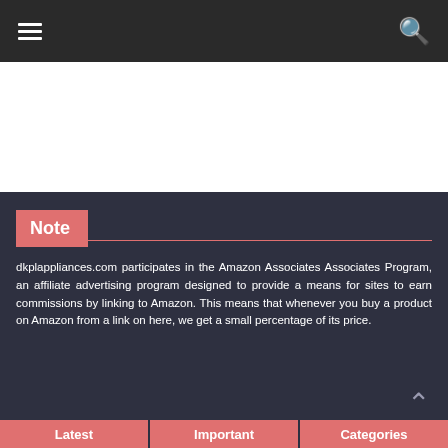≡  🔍
Note
dkplappliances.com participates in the Amazon Associates Associates Program, an affiliate advertising program designed to provide a means for sites to earn commissions by linking to Amazon. This means that whenever you buy a product on Amazon from a link on here, we get a small percentage of its price.
Latest  Important  Categories